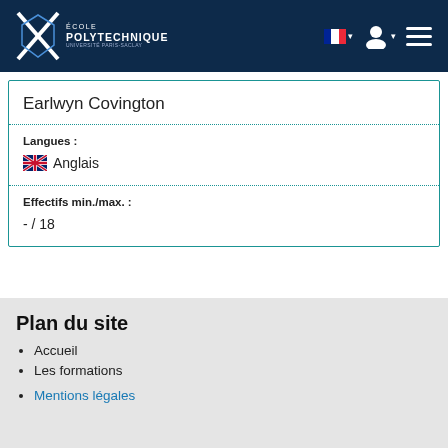École Polytechnique - Université Paris-Saclay
Earlwyn Covington
Langues : 
🇬🇧 Anglais
Effectifs min./max. :
- / 18
Plan du site
Accueil
Les formations
Mentions légales